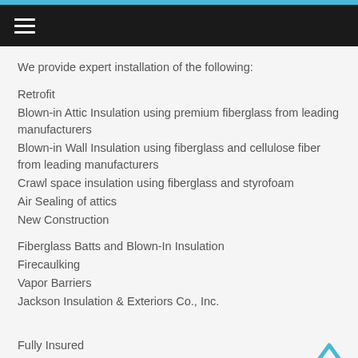Navigation bar with hamburger menu
We provide expert installation of the following:
Retrofit
Blown-in Attic Insulation using premium fiberglass from leading manufacturers
Blown-in Wall Insulation using fiberglass and cellulose fiber from leading manufacturers
Crawl space insulation using fiberglass and styrofoam
Air Sealing of attics
New Construction
Fiberglass Batts and Blown-In Insulation
Firecaulking
Vapor Barriers
Jackson Insulation & Exteriors Co., Inc.
Fully Insured